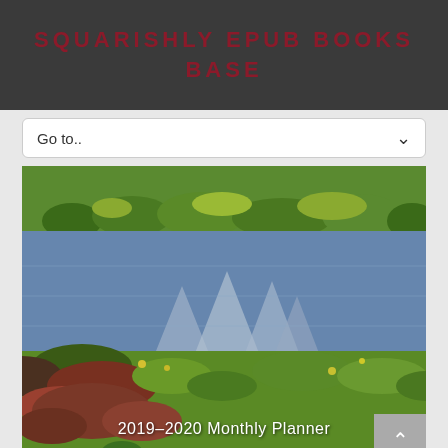SQUARISHLY EPUB BOOKS BASE
Go to..
[Figure (photo): Landscape photo showing a wetland scene with green grasses and marsh vegetation bordering a reflective blue water surface, with mountain reflections visible. Wildflowers and colorful ground cover in foreground.]
2019–2020 Monthly Planner